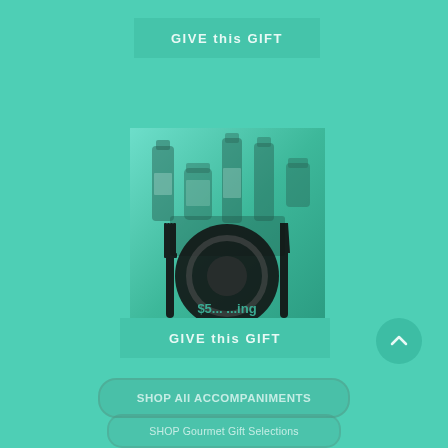GIVE this GIFT
[Figure (illustration): Product card showing gift basket with bottles and jars in background, overlaid with a black silhouette of a dining set (fork, plate, knife). Teal/green color scheme.]
$5... ...ing
Read More
GIVE this GIFT
SHOP All ACCOMPANIMENTS
SHOP Gourmet Gift Selections